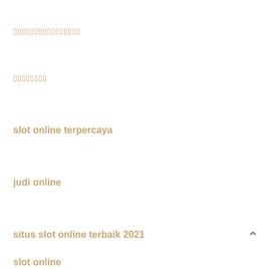▯▯▯▯▯▯▯▯▯▯▯▯▯▯▯▯
▯▯▯▯▯▯▯▯
slot online terpercaya
judi online
situs slot online terbaik 2021
slot online